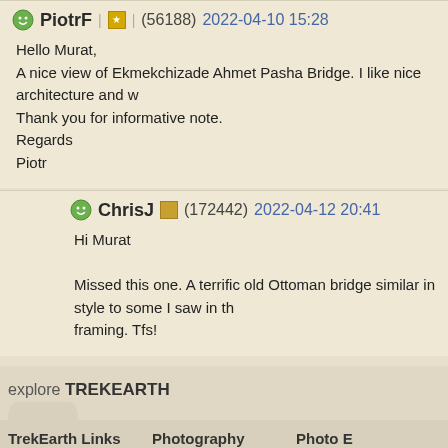PiotrF | ★ | (56188) 2022-04-10 15:28
Hello Murat,
A nice view of Ekmekchizade Ahmet Pasha Bridge. I like nice architecture and w...
Thank you for informative note.
Regards
Piotr
ChrisJ | (172442) 2022-04-12 20:41
Hi Murat
Missed this one. A terrific old Ottoman bridge similar in style to some I saw in th... framing. Tfs!
explore TREKEARTH
TrekEarth Links
Gallery
Forums
Members
About
Photography
Photos
Critiques
Themes
Categories
Photo E...
Nikon ...
Canon ...
Canon ...
Nikon ...